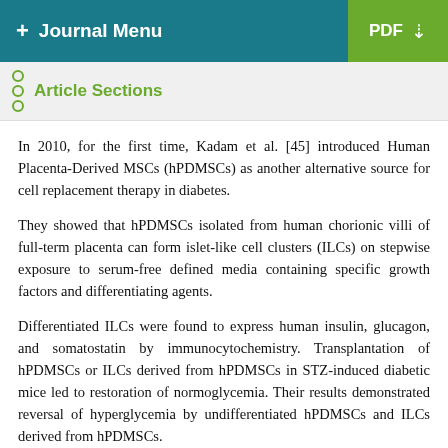+ Journal Menu   PDF ↓
Article Sections
In 2010, for the first time, Kadam et al. [45] introduced Human Placenta-Derived MSCs (hPDMSCs) as another alternative source for cell replacement therapy in diabetes.
They showed that hPDMSCs isolated from human chorionic villi of full-term placenta can form islet-like cell clusters (ILCs) on stepwise exposure to serum-free defined media containing specific growth factors and differentiating agents.
Differentiated ILCs were found to express human insulin, glucagon, and somatostatin by immunocytochemistry. Transplantation of hPDMSCs or ILCs derived from hPDMSCs in STZ-induced diabetic mice led to restoration of normoglycemia. Their results demonstrated reversal of hyperglycemia by undifferentiated hPDMSCs and ILCs derived from hPDMSCs.
However, to evaluate hPDMSCs characteristics and their differentiation potentials, more studies should be carried out.